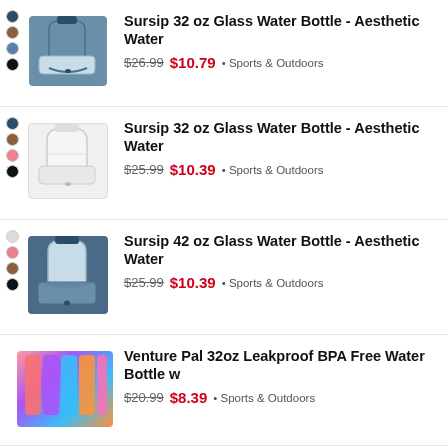Sursip 32 oz Glass Water Bottle - Aesthetic Water
Sursip 32 oz Glass Water Bottle - Aesthetic Water
Sursip 42 oz Glass Water Bottle - Aesthetic Water
Venture Pal 32oz Leakproof BPA Free Water Bottle w
Venture Pal 32oz Leakproof BPA Free Water Bottle w